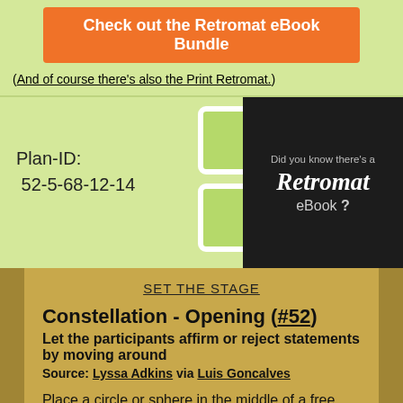Check out the Retromat eBook Bundle
(And of course there's also the Print Retromat.)
Plan-ID:
 52-5-68-12-14
[Figure (illustration): Two light green rounded squares stacked vertically with white borders, and a dark box on the right reading 'Did you know there's a Retromat eBook ?']
SET THE STAGE
Constellation - Opening (#52)
Let the participants affirm or reject statements by moving around
Source: Lyssa Adkins via Luis Goncalves
Place a circle or sphere in the middle of a free space. Let the team gather around it. Explain that the circle is the center of approval: If they agree to a statement they should move towards it, if they don't, they should move as